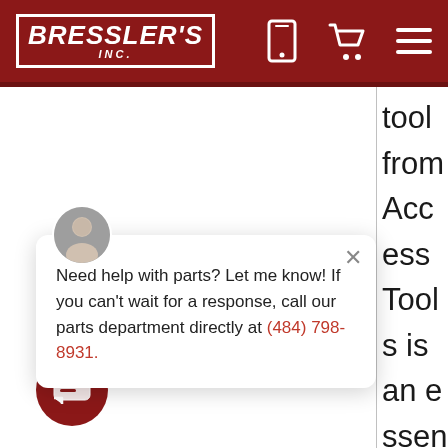[Figure (screenshot): Bressler's Inc. website header with dark red background, logo, phone icon, cart icon, and hamburger menu icon]
tool from Access Tools is an essential to any t. This ack is easier to an the onal wedge, and creates a larger gap for tool
Need help with parts? Let me know! If you can't wait for a response, call our parts department directly at (484) 798-8931.
[Figure (screenshot): Chat popup with agent avatar, close button, and chat icon button]